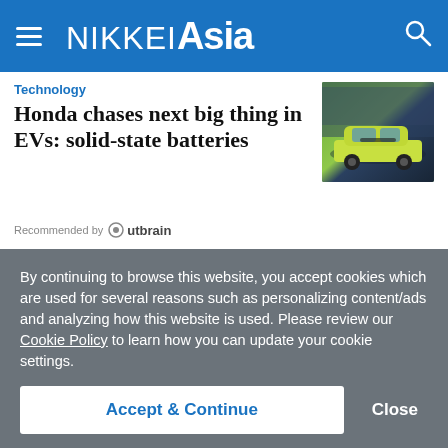NIKKEI Asia
Technology
Honda chases next big thing in EVs: solid-state batteries
[Figure (photo): Photo of a green/yellow Honda EV concept car at an auto show]
Recommended by Outbrain
[Figure (logo): UNLOCK THE REAL JAPAN promotional banner with orange bar and fingerprint O graphic]
By continuing to browse this website, you accept cookies which are used for several reasons such as personalizing content/ads and analyzing how this website is used. Please review our Cookie Policy to learn how you can update your cookie settings.
Accept & Continue
Close